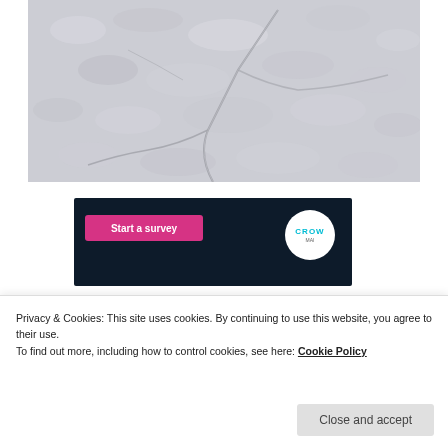[Figure (photo): A grey/white textured surface showing cracked snow or salt flat viewed from above, with irregular crack lines running through a lumpy white surface.]
[Figure (screenshot): A dark navy/black banner with a pink 'Start a survey' button on the left and a circular white logo badge on the right with 'CROW' text in teal letters.]
Privacy & Cookies: This site uses cookies. By continuing to use this website, you agree to their use. To find out more, including how to control cookies, see here: Cookie Policy
Close and accept